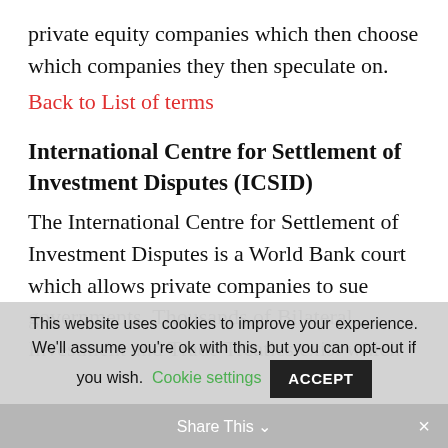private equity companies which then choose which companies they then speculate on.
Back to List of terms
International Centre for Settlement of Investment Disputes (ICSID)
The International Centre for Settlement of Investment Disputes is a World Bank court which allows private companies to sue governments. Thousands of Bilateral Investment and Trade Treaties exist which
This website uses cookies to improve your experience. We'll assume you're ok with this, but you can opt-out if you wish. Cookie settings ACCEPT
Share This